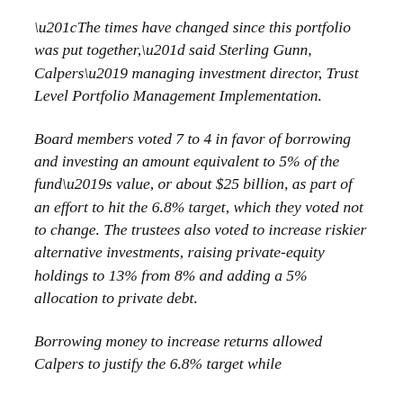“The times have changed since this portfolio was put together,” said Sterling Gunn, Calpers’ managing investment director, Trust Level Portfolio Management Implementation.
Board members voted 7 to 4 in favor of borrowing and investing an amount equivalent to 5% of the fund’s value, or about $25 billion, as part of an effort to hit the 6.8% target, which they voted not to change. The trustees also voted to increase riskier alternative investments, raising private-equity holdings to 13% from 8% and adding a 5% allocation to private debt.
Borrowing money to increase returns allowed Calpers to justify the 6.8% target while